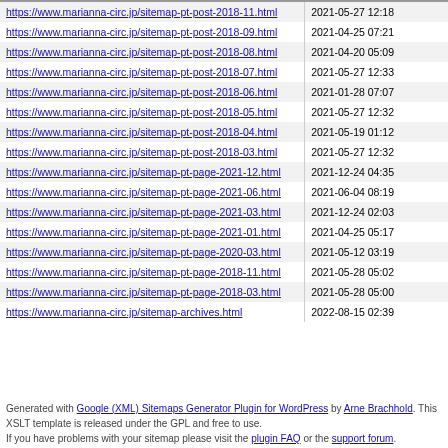| URL | Last Modified |
| --- | --- |
| https://www.marianna-circ.jp/sitemap-pt-post-2018-11.html | 2021-05-27 12:18 |
| https://www.marianna-circ.jp/sitemap-pt-post-2018-09.html | 2021-04-25 07:21 |
| https://www.marianna-circ.jp/sitemap-pt-post-2018-08.html | 2021-04-20 05:09 |
| https://www.marianna-circ.jp/sitemap-pt-post-2018-07.html | 2021-05-27 12:33 |
| https://www.marianna-circ.jp/sitemap-pt-post-2018-06.html | 2021-01-28 07:07 |
| https://www.marianna-circ.jp/sitemap-pt-post-2018-05.html | 2021-05-27 12:32 |
| https://www.marianna-circ.jp/sitemap-pt-post-2018-04.html | 2021-05-19 01:12 |
| https://www.marianna-circ.jp/sitemap-pt-post-2018-03.html | 2021-05-27 12:32 |
| https://www.marianna-circ.jp/sitemap-pt-page-2021-12.html | 2021-12-24 04:35 |
| https://www.marianna-circ.jp/sitemap-pt-page-2021-06.html | 2021-06-04 08:19 |
| https://www.marianna-circ.jp/sitemap-pt-page-2021-03.html | 2021-12-24 02:03 |
| https://www.marianna-circ.jp/sitemap-pt-page-2021-01.html | 2021-04-25 05:17 |
| https://www.marianna-circ.jp/sitemap-pt-page-2020-03.html | 2021-05-12 03:19 |
| https://www.marianna-circ.jp/sitemap-pt-page-2018-11.html | 2021-05-28 05:02 |
| https://www.marianna-circ.jp/sitemap-pt-page-2018-03.html | 2021-05-28 05:00 |
| https://www.marianna-circ.jp/sitemap-archives.html | 2022-08-15 02:39 |
Generated with Google (XML) Sitemaps Generator Plugin for WordPress by Arne Brachhold. This XSLT template is released under the GPL and free to use. If you have problems with your sitemap please visit the plugin FAQ or the support forum.